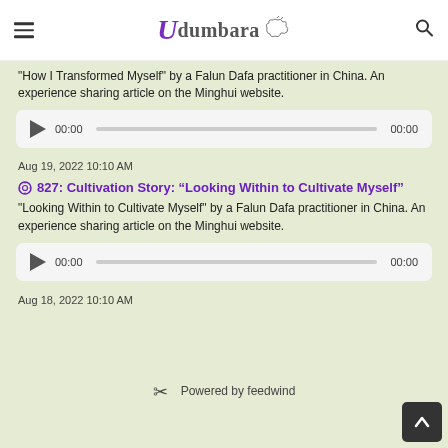Udumbara
"How I Transformed Myself" by a Falun Dafa practitioner in China. An experience sharing article on the Minghui website.
[Figure (other): Audio player with play button, 00:00 start time, progress bar, 00:00 end time]
Aug 19, 2022 10:10 AM
827: Cultivation Story: “Looking Within to Cultivate Myself”
"Looking Within to Cultivate Myself" by a Falun Dafa practitioner in China. An experience sharing article on the Minghui website.
[Figure (other): Audio player with play button, 00:00 start time, progress bar, 00:00 end time]
Aug 18, 2022 10:10 AM
Powered by feedwind